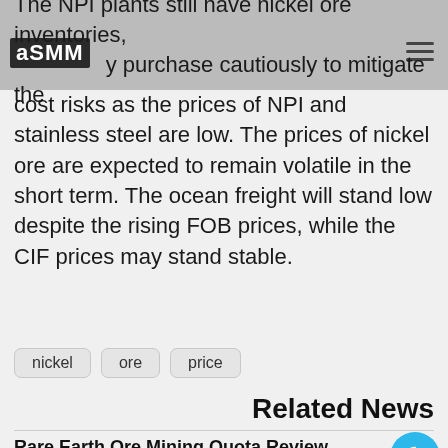SMM
The NPI plants still have nickel ore inventories, and they purchase cautiously to mitigate the cost risks as the prices of NPI and stainless steel are low. The prices of nickel ore are expected to remain volatile in the short term. The ocean freight will stand low despite the rising FOB prices, while the CIF prices may stand stable.
nickel
ore
price
Related News
Rare Earth Ore Mining Quota Review in 2021
China's rare earth mining and smelting/separation quotas stood at 168,000 mt and 162,000 mt...